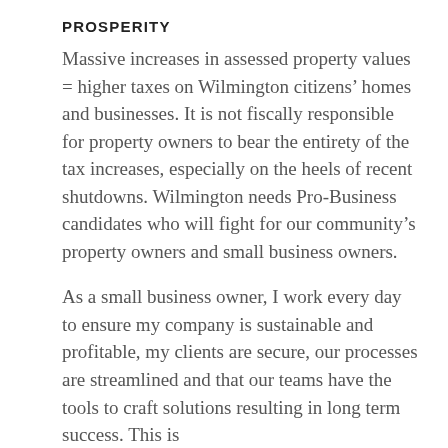PROSPERITY
Massive increases in assessed property values = higher taxes on Wilmington citizens’ homes and businesses. It is not fiscally responsible for property owners to bear the entirety of the tax increases, especially on the heels of recent shutdowns. Wilmington needs Pro-Business candidates who will fight for our community’s property owners and small business owners.
As a small business owner, I work every day to ensure my company is sustainable and profitable, my clients are secure, our processes are streamlined and that our teams have the tools to craft solutions resulting in long term success. This is